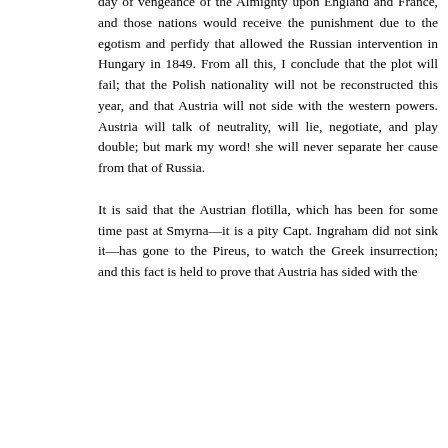day of vengeance of the Almighty upon England and France, and those nations would receive the punishment due to the egotism and perfidy that allowed the Russian intervention in Hungary in 1849. From all this, I conclude that the plot will fail; that the Polish nationality will not be reconstructed this year, and that Austria will not side with the western powers. Austria will talk of neutrality, will lie, negotiate, and play double; but mark my word! she will never separate her cause from that of Russia.

It is said that the Austrian flotilla, which has been for some time past at Smyrna—it is a pity Capt. Ingraham did not sink it—has gone to the Pireus, to watch the Greek insurrection; and this fact is held to prove that Austria has sided with the